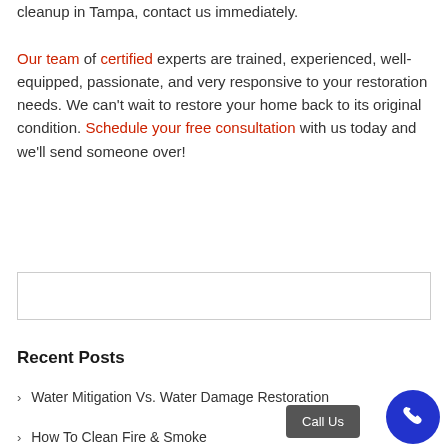cleanup in Tampa, contact us immediately. Our team of certified experts are trained, experienced, well-equipped, passionate, and very responsive to your restoration needs. We can't wait to restore your home back to its original condition. Schedule your free consultation with us today and we'll send someone over!
[Figure (other): Search input box with border]
Recent Posts
› Water Mitigation Vs. Water Damage Restoration
› How To Clean Fire & Smoke Damage